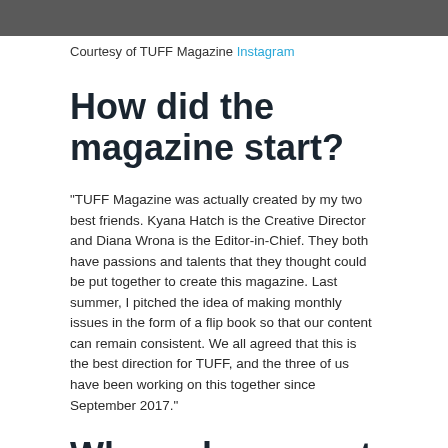[Figure (photo): Partial photo strip at top of page, dark toned image cropped]
Courtesy of TUFF Magazine Instagram
How did the magazine start?
“TUFF Magazine was actually created by my two best friends. Kyana Hatch is the Creative Director and Diana Wrona is the Editor-in-Chief. They both have passions and talents that they thought could be put together to create this magazine. Last summer, I pitched the idea of making monthly issues in the form of a flip book so that our content can remain consistent. We all agreed that this is the best direction for TUFF, and the three of us have been working on this together since September 2017.”
Where do you get your ideas for the issues?